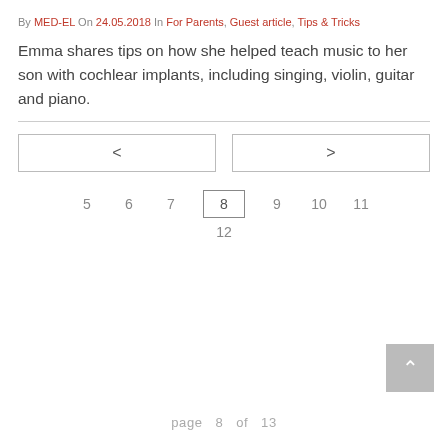By MED-EL On 24.05.2018 In For Parents, Guest article, Tips & Tricks
Emma shares tips on how she helped teach music to her son with cochlear implants, including singing, violin, guitar and piano.
[Figure (other): Navigation buttons: left arrow (<) and right arrow (>)]
[Figure (other): Pagination: page numbers 5, 6, 7, 8 (active/current), 9, 10, 11, 12]
[Figure (other): Back to top button with upward chevron arrow]
page 8 of 13